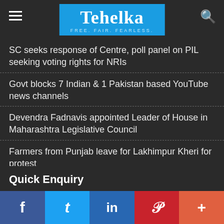Tehelka – FREE. FAIR. FEARLESS.
SC seeks response of Centre, poll panel on PIL seeking voting rights for NRIs
Govt blocks 7 Indian & 1 Pakistan based YouTube news channels
Devendra Fadnavis appointed Leader of House in Maharashtra Legislative Council
Farmers from Punjab leave for Lakhimpur Kheri for protest
Gadkari, Chouhan dropped from BJP parliamentary board, Yediyurappa among 6 new members
Quick Enquiry